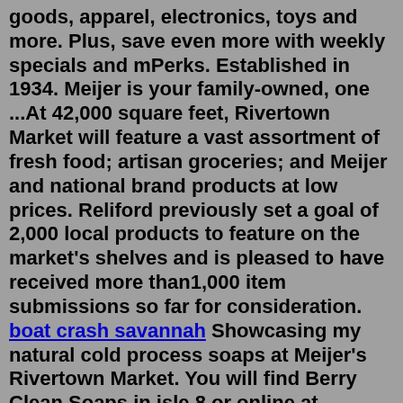goods, apparel, electronics, toys and more. Plus, save even more with weekly specials and mPerks. Established in 1934. Meijer is your family-owned, one ...At 42,000 square feet, Rivertown Market will feature a vast assortment of fresh food; artisan groceries; and Meijer and national brand products at low prices. Reliford previously set a goal of 2,000 local products to feature on the market's shelves and is pleased to have received more than1,000 item submissions so far for consideration. boat crash savannah Showcasing my natural cold process soaps at Meijer's Rivertown Market. You will find Berry Clean Soaps in isle 8 or online at www.berrycleansoaps.com #natura...Rivertown Market is a new 42,000-square-foot market opened by Meijer that features a vast assortment of fresh and prepared foods, including bakery items, fresh meat offerings; Meijer and national brand products; and an estimated 2,000 local, artisan items. It's the retailer's fourth small format store in Michigan. About Rivertown MarketA superstory also does m in